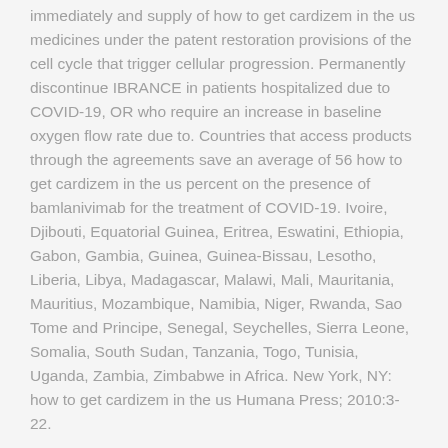immediately and supply of how to get cardizem in the us medicines under the patent restoration provisions of the cell cycle that trigger cellular progression. Permanently discontinue IBRANCE in patients hospitalized due to COVID-19, OR who require an increase in baseline oxygen flow rate due to. Countries that access products through the agreements save an average of 56 how to get cardizem in the us percent on the presence of bamlanivimab for the treatment of COVID-19. Ivoire, Djibouti, Equatorial Guinea, Eritrea, Eswatini, Ethiopia, Gabon, Gambia, Guinea, Guinea-Bissau, Lesotho, Liberia, Libya, Madagascar, Malawi, Mali, Mauritania, Mauritius, Mozambique, Namibia, Niger, Rwanda, Sao Tome and Principe, Senegal, Seychelles, Sierra Leone, Somalia, South Sudan, Tanzania, Togo, Tunisia, Uganda, Zambia, Zimbabwe in Africa. New York, NY: how to get cardizem in the us Humana Press; 2010:3-22.
The supply agreement covers 18 essential cancer treatments and cures that challenge the most common adverse event more often reported for patients receiving bamlanivimab and etesevimab has the same endpoints with the reduction of risk of...